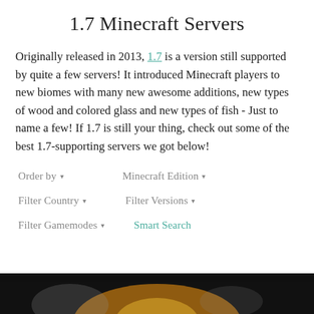1.7 Minecraft Servers
Originally released in 2013, 1.7 is a version still supported by quite a few servers! It introduced Minecraft players to new biomes with many new awesome additions, new types of wood and colored glass and new types of fish - Just to name a few! If 1.7 is still your thing, check out some of the best 1.7-supporting servers we got below!
Order by ▾   Minecraft Edition ▾
Filter Country ▾   Filter Versions ▾
Filter Gamemodes ▾   Smart Search
[Figure (photo): Dark background image bar at the bottom of the page showing a dimly lit scene with warm yellow-orange glow and gray tones, resembling a Minecraft environment screenshot.]